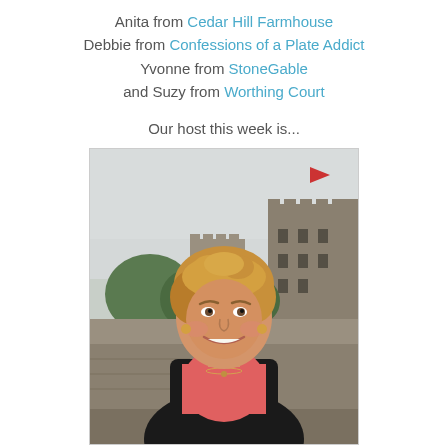Anita from Cedar Hill Farmhouse
Debbie from Confessions of a Plate Addict
Yvonne from StoneGable
and Suzy from Worthing Court
Our host this week is...
[Figure (photo): A smiling woman with short blonde hair wearing a black jacket over a pink top, standing in front of a stone castle or fortress building with trees in the background.]